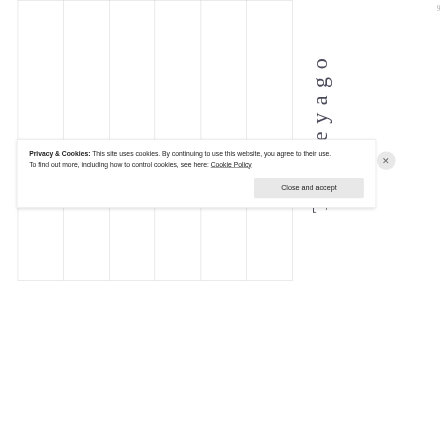9
Thereyago
Privacy & Cookies: This site uses cookies. By continuing to use this website, you agree to their use.
To find out more, including how to control cookies, see here: Cookie Policy
Close and accept